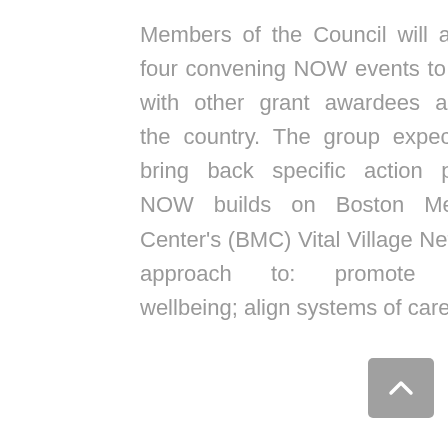Members of the Council will attend four convening NOW events to work with other grant awardees across the country. The group expects to bring back specific action plans. NOW builds on Boston Medical Center's (BMC) Vital Village Network approach to: promote child wellbeing; align systems of care and
[Figure (other): Gray scroll-to-top button with upward chevron arrow]